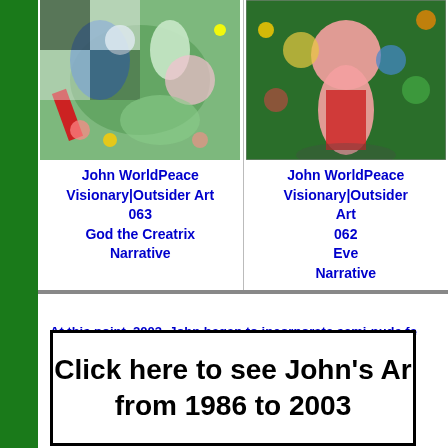[Figure (illustration): Colorful visionary/outsider art painting - God the Creatrix (063)]
John WorldPeace
Visionary|Outsider Art
063
God the Creatrix
Narrative
[Figure (illustration): Colorful visionary/outsider art painting - Eve (062), showing pink figure]
John WorldPeace
Visionary|Outsider
Art
062
Eve
Narrative
At this point, 2003, John began to incorporate semi-nude fe
Click here to see John's Art from 1986 to 2003